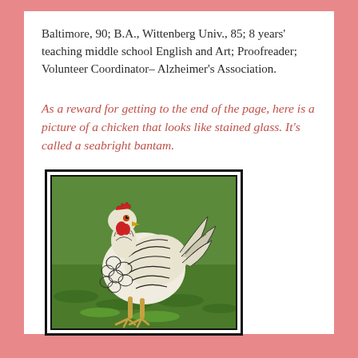Baltimore, 90; B.A., Wittenberg Univ., 85; 8 years' teaching middle school English and Art; Proofreader; Volunteer Coordinator– Alzheimer's Association.
As a reward for getting to the end of the page, here is a picture of a chicken that looks like stained glass. It's called a seabright bantam.
[Figure (photo): A seabright bantam chicken with black-laced white and silver feathers standing on grass, framed with a double black border.]